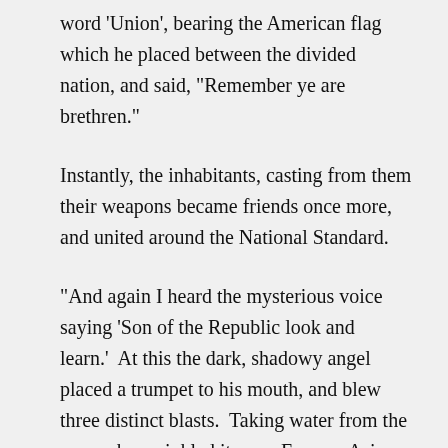word 'Union', bearing the American flag which he placed between the divided nation, and said, "Remember ye are brethren."
Instantly, the inhabitants, casting from them their weapons became friends once more, and united around the National Standard.
"And again I heard the mysterious voice saying 'Son of the Republic look and learn.'  At this the dark, shadowy angel placed a trumpet to his mouth, and blew three distinct blasts.  Taking water from the ocean, he sprinkled it upon Europe, Asia and Africa.  They my eyes beheld a fearful scene:  From each of these countries arose thick, black clouds that were soon joined into one.  Throughout this mass there gleamed a dark red light by which I saw hordes of armed men, who, moving with the cloud, marched by land and sailed by sea to America.  Our country was enveloped in this volume of cloud.